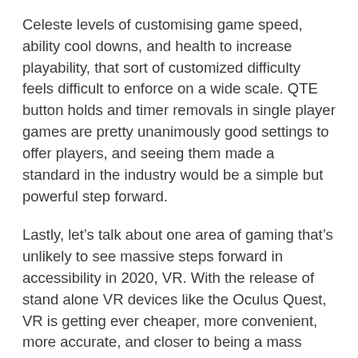Celeste levels of customising game speed, ability cool downs, and health to increase playability, that sort of customized difficulty feels difficult to enforce on a wide scale. QTE button holds and timer removals in single player games are pretty unanimously good settings to offer players, and seeing them made a standard in the industry would be a simple but powerful step forward.
Lastly, let’s talk about one area of gaming that’s unlikely to see massive steps forward in accessibility in 2020, VR. With the release of stand alone VR devices like the Oculus Quest, VR is getting ever cheaper, more convenient, more accurate, and closer to being a mass market appeal product. However, as has always been the case for VR, it comes with some major accessibility hurdles, particularly considering the direction the VR space is trending.